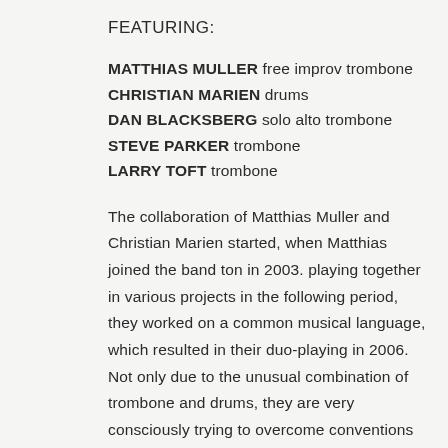FEATURING:
MATTHIAS MULLER free improv trombone
CHRISTIAN MARIEN drums
DAN BLACKSBERG solo alto trombone
STEVE PARKER trombone
LARRY TOFT trombone
The collaboration of Matthias Muller and Christian Marien started, when Matthias joined the band ton in 2003. playing together in various projects in the following period, they worked on a common musical language, which resulted in their duo-playing in 2006. Not only due to the unusual combination of trombone and drums, they are very consciously trying to overcome conventions and to